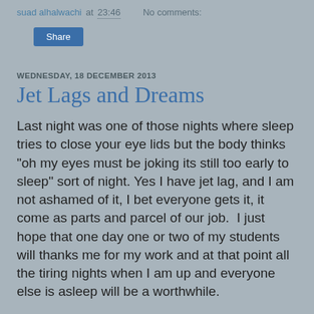suad alhalwachi at 23:46    No comments:
Share
WEDNESDAY, 18 DECEMBER 2013
Jet Lags and Dreams
Last night was one of those nights where sleep tries to close your eye lids but the body thinks "oh my eyes must be joking its still too early to sleep" sort of night. Yes I have jet lag, and I am not ashamed of it, I bet everyone gets it, it come as parts and parcel of our job.  I just hope that one day one or two of my students will thanks me for my work and at that point all the tiring nights when I am up and everyone else is asleep will be a worthwhile.
Anyway, so while tackling my 1400 emails that got collected due to my vrious trips, I hear a scream and my daughter jumps out of her room to the living room screaming " a big bug a big bug" there we go again she is having them